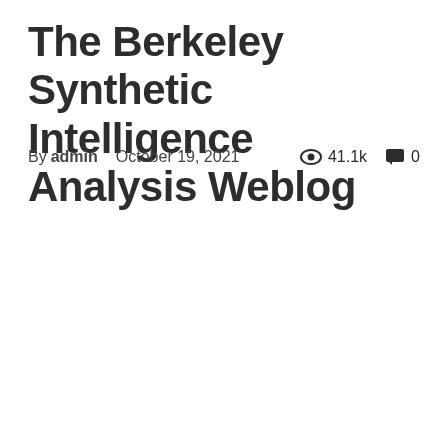The Berkeley Synthetic Intelligence Analysis Weblog
By admin   October 19, 2021   👁 41.1k   💬 0